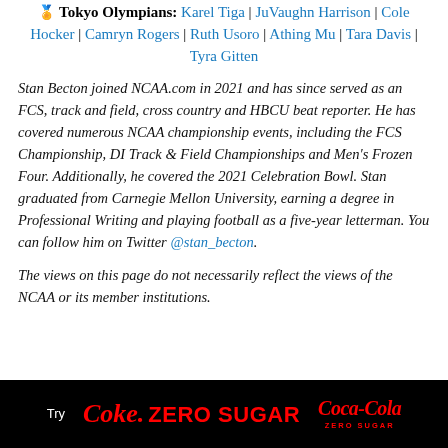🏅 Tokyo Olympians: Karel Tiga | JuVaughn Harrison | Cole Hocker | Camryn Rogers | Ruth Usoro | Athing Mu | Tara Davis | Tyra Gitten
Stan Becton joined NCAA.com in 2021 and has since served as an FCS, track and field, cross country and HBCU beat reporter. He has covered numerous NCAA championship events, including the FCS Championship, DI Track & Field Championships and Men's Frozen Four. Additionally, he covered the 2021 Celebration Bowl. Stan graduated from Carnegie Mellon University, earning a degree in Professional Writing and playing football as a five-year letterman. You can follow him on Twitter @stan_becton.
The views on this page do not necessarily reflect the views of the NCAA or its member institutions.
[Figure (infographic): Coca-Cola Zero Sugar advertisement banner on black background. Shows 'Try' in white, 'Coke. ZERO SUGAR' in red, and Coca-Cola Zero Sugar logo.]